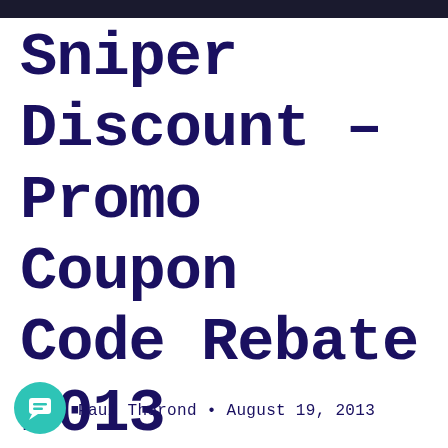Sniper Discount – Promo Coupon Code Rebate 2013
Paul Therond • August 19, 2013